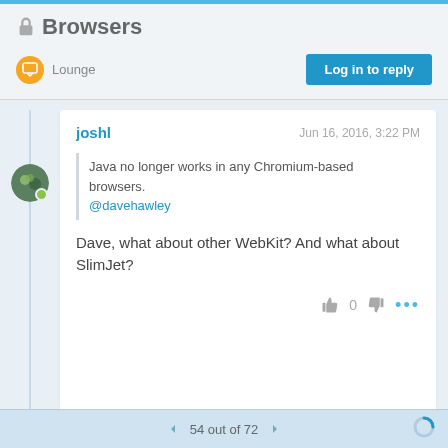Browsers
Lounge
Log in to reply
joshl  Jun 16, 2016, 3:22 PM
Java no longer works in any Chromium-based browsers.
@davehawley
Dave, what about other WebKit? And what about SlimJet?
54 out of 72